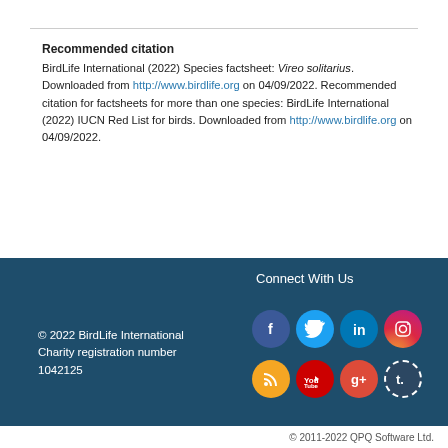Recommended citation
BirdLife International (2022) Species factsheet: Vireo solitarius. Downloaded from http://www.birdlife.org on 04/09/2022. Recommended citation for factsheets for more than one species: BirdLife International (2022) IUCN Red List for birds. Downloaded from http://www.birdlife.org on 04/09/2022.
© 2022 BirdLife International Charity registration number 1042125
© 2011-2022 QPQ Software Ltd.